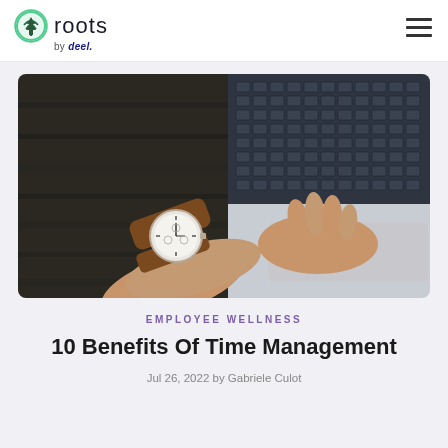roots by deel.
[Figure (photo): A person's hand wearing a brown leather strap analog watch, resting on a laptop keyboard and trackpad on a dark wooden surface.]
EMPLOYEE WELLNESS
10 Benefits Of Time Management
Jul 26, 2022 by Gabriele Culot